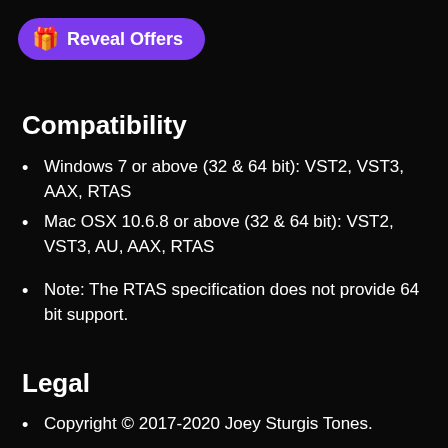[Figure (other): Purple pill-shaped button with gift emoji and text 'Reveal Offers']
Compatibility
Windows 7 or above (32 & 64 bit): VST2, VST3, AAX, RTAS
Mac OSX 10.6.8 or above (32 & 64 bit): VST2, VST3, AU, AAX, RTAS
Note: The RTAS specification does not provide 64 bit support.
Legal
Copyright © 2017-2020 Joey Sturgis Tones.